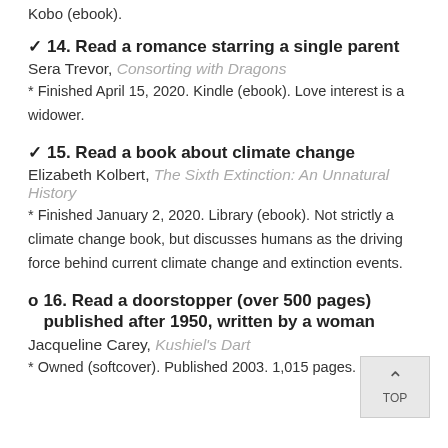Kobo (ebook).
✓ 14. Read a romance starring a single parent
Sera Trevor, Consorting with Dragons
* Finished April 15, 2020. Kindle (ebook). Love interest is a widower.
✓ 15. Read a book about climate change
Elizabeth Kolbert, The Sixth Extinction: An Unnatural History
* Finished January 2, 2020. Library (ebook). Not strictly a climate change book, but discusses humans as the driving force behind current climate change and extinction events.
o 16. Read a doorstopper (over 500 pages) published after 1950, written by a woman
Jacqueline Carey, Kushiel's Dart
* Owned (softcover). Published 2003. 1,015 pages.